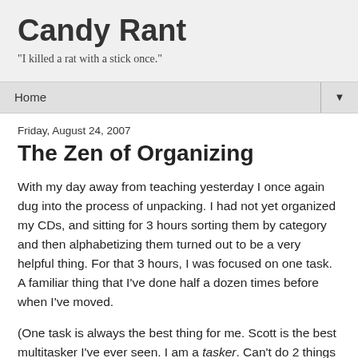Candy Rant
"I killed a rat with a stick once."
Home ▼
Friday, August 24, 2007
The Zen of Organizing
With my day away from teaching yesterday I once again dug into the process of unpacking. I had not yet organized my CDs, and sitting for 3 hours sorting them by category and then alphabetizing them turned out to be a very helpful thing. For that 3 hours, I was focused on one task. A familiar thing that I've done half a dozen times before when I've moved.
(One task is always the best thing for me. Scott is the best multitasker I've ever seen. I am a tasker. Can't do 2 things at once any more complex than eating and watching TV. I'm a